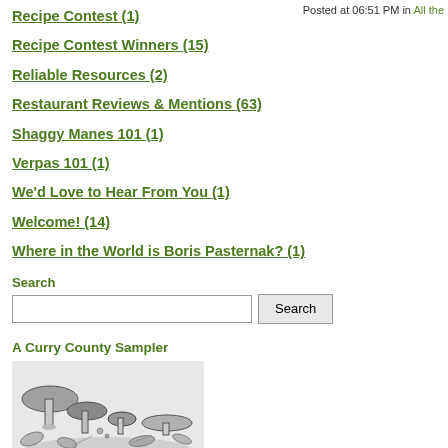Posted at 06:51 PM in All the
Recipe Contest (1)
Recipe Contest Winners (15)
Reliable Resources (2)
Restaurant Reviews & Mentions (63)
Shaggy Manes 101 (1)
Verpas 101 (1)
We'd Love to Hear From You (1)
Welcome! (14)
Where in the World is Boris Pasternak? (1)
Search
A Curry County Sampler
[Figure (illustration): Black and white illustration of various mushrooms in a natural setting with leaves and foliage]